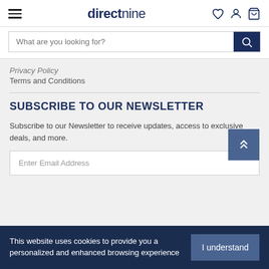directnine
What are you looking for?
Privacy Policy
Terms and Conditions
SUBSCRIBE TO OUR NEWSLETTER
Subscribe to our Newsletter to receive updates, access to exclusive deals, and more.
Enter Email Address
This website uses cookies to provide you a personalized and enhanced browsing experience